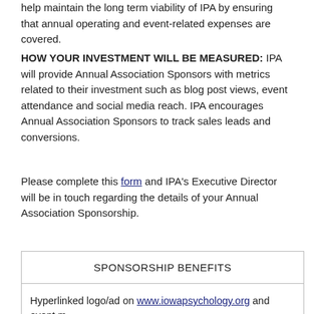help maintain the long term viability of IPA by ensuring that annual operating and event-related expenses are covered.
HOW YOUR INVESTMENT WILL BE MEASURED: IPA will provide Annual Association Sponsors with metrics related to their investment such as blog post views, event attendance and social media reach. IPA encourages Annual Association Sponsors to track sales leads and conversions.
Please complete this form and IPA's Executive Director will be in touch regarding the details of your Annual Association Sponsorship.
| SPONSORSHIP BENEFITS |
| --- |
| Hyperlinked logo/ad on www.iowapsychology.org and event materials as Annual Association Sponsor |
| List limited products or services on www.iowapsychology.org |